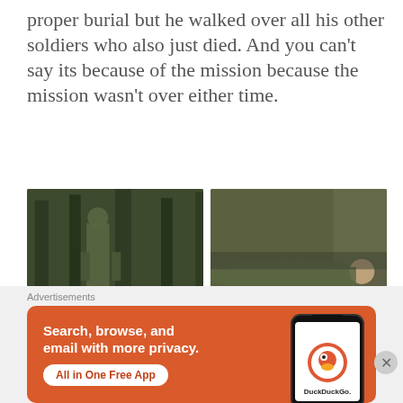proper burial but he walked over all his other soldiers who also just died. And you can't say its because of the mission because the mission wasn't over either time.
[Figure (photo): Four screenshots in a 2x2 grid from a military/dramatic video: top-left shows a soldier in woodland camouflage standing among trees; top-right shows a soldier lying on the ground in forest setting; bottom-left shows two men from behind walking in a forest; bottom-right shows two men facing each other in a forest.]
Advertisements
[Figure (screenshot): DuckDuckGo advertisement banner with orange background. Text reads 'Search, browse, and email with more privacy. All in One Free App' with a smartphone mockup showing the DuckDuckGo logo and app interface.]